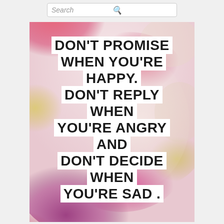[Figure (screenshot): Search bar UI element at the top of the page with placeholder text 'Search' and a magnifying glass icon]
[Figure (illustration): Watercolor background image with pink, magenta, purple, and yellow-green blended colors, with bold white-backed text overlay reading: DON'T PROMISE WHEN YOU'RE HAPPY. DON'T REPLY WHEN YOU'RE ANGRY AND DON'T DECIDE WHEN YOU'RE SAD .]